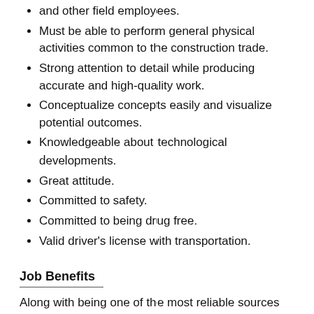and other field employees.
Must be able to perform general physical activities common to the construction trade.
Strong attention to detail while producing accurate and high-quality work.
Conceptualize concepts easily and visualize potential outcomes.
Knowledgeable about technological developments.
Great attitude.
Committed to safety.
Committed to being drug free.
Valid driver's license with transportation.
Job Benefits
Along with being one of the most reliable sources for steady construction employment, we also provide:
Health Insurance
Dental Insurance
Paid Holidays